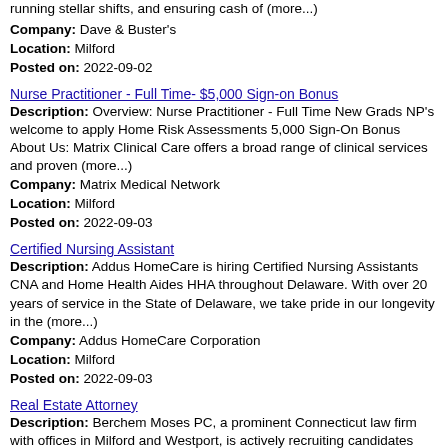running stellar shifts, and ensuring cash of (more...)
Company: Dave & Buster's
Location: Milford
Posted on: 2022-09-02
Nurse Practitioner - Full Time- $5,000 Sign-on Bonus
Description: Overview: Nurse Practitioner - Full Time New Grads NP's welcome to apply Home Risk Assessments 5,000 Sign-On Bonus About Us: Matrix Clinical Care offers a broad range of clinical services and proven (more...)
Company: Matrix Medical Network
Location: Milford
Posted on: 2022-09-03
Certified Nursing Assistant
Description: Addus HomeCare is hiring Certified Nursing Assistants CNA and Home Health Aides HHA throughout Delaware. With over 20 years of service in the State of Delaware, we take pride in our longevity in the (more...)
Company: Addus HomeCare Corporation
Location: Milford
Posted on: 2022-09-03
Real Estate Attorney
Description: Berchem Moses PC, a prominent Connecticut law firm with offices in Milford and Westport, is actively recruiting candidates
Company: Berchem Moses PC